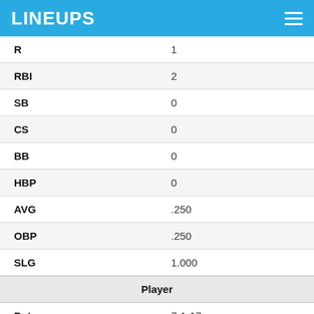LINEUPS
| R | 1 |
| RBI | 2 |
| SB | 0 |
| CS | 0 |
| BB | 0 |
| HBP | 0 |
| AVG | .250 |
| OBP | .250 |
| SLG | 1.000 |
| Player |  |
| Date | 7-1-17 |
| OPP | at CHW |